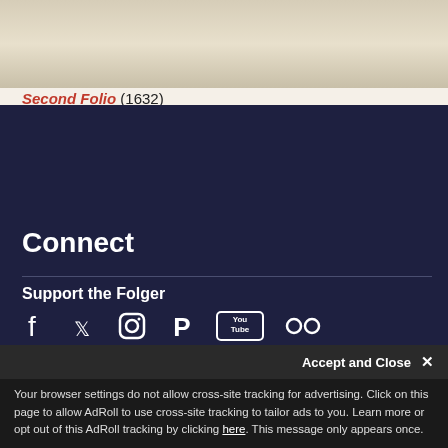[Figure (photo): Partial view of a historical scroll or parchment document, aged beige/cream color]
Second Folio (1632)
Connect
Support the Folger
[Figure (infographic): Social media icons: Facebook, Twitter, Instagram, Pinterest, YouTube, Flickr]
Sign up for our Newsletters
Contact
Accept and Close ✕
Your browser settings do not allow cross-site tracking for advertising. Click on this page to allow AdRoll to use cross-site tracking to tailor ads to you. Learn more or opt out of this AdRoll tracking by clicking here. This message only appears once.